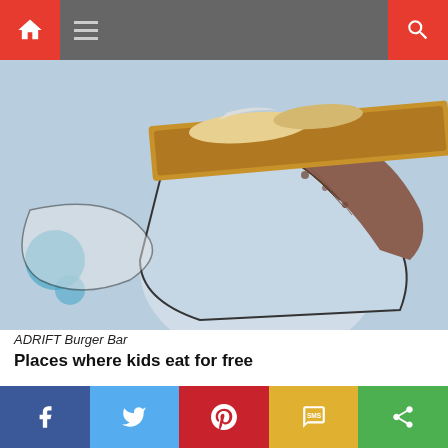Navigation bar with home icon, menu, and search
[Figure (photo): Person with tattooed arm holding a wooden tray with food above a comic-book style mural background]
ADRIFT Burger Bar
Places where kids eat for free
ADRIFT Burger Bar
Brainchild of Michelin-starred chef David Myers, the epic burger recipe has travelled round the globe picking up momentum and landed in Dubai with a never been seen collection of burgers. You can't go wrong with burgers, shakes and delicious sides for
Social share bar: Facebook, Twitter, Pinterest, SMS, Share